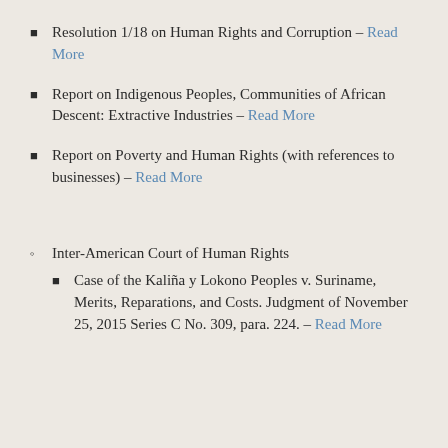Resolution 1/18 on Human Rights and Corruption – Read More
Report on Indigenous Peoples, Communities of African Descent: Extractive Industries – Read More
Report on Poverty and Human Rights (with references to businesses) – Read More
Inter-American Court of Human Rights
Case of the Kaliña y Lokono Peoples v. Suriname, Merits, Reparations, and Costs. Judgment of November 25, 2015 Series C No. 309, para. 224. – Read More